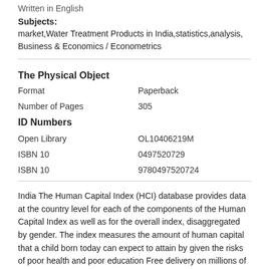Written in English
Subjects:
market,Water Treatment Products in India,statistics,analysis,
Business & Economics / Econometrics
The Physical Object
Format    Paperback
Number of Pages    305
ID Numbers
Open Library    OL10406219M
ISBN 10    0497520729
ISBN 10    9780497520724
India The Human Capital Index (HCI) database provides data at the country level for each of the components of the Human Capital Index as well as for the overall index, disaggregated by gender. The index measures the amount of human capital that a child born today can expect to attain by given the risks of poor health and poor education Free delivery on millions of items with Prime. Low prices across earth's biggest selection of books, music, DVDs, electronics,